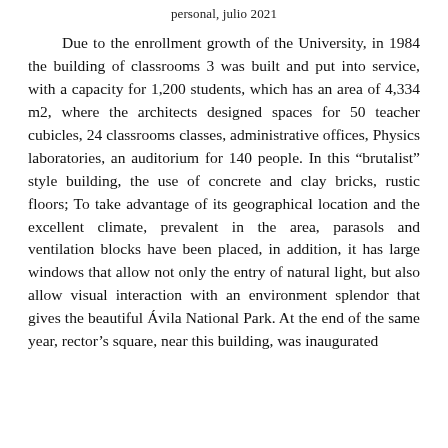personal, julio 2021
Due to the enrollment growth of the University, in 1984 the building of classrooms 3 was built and put into service, with a capacity for 1,200 students, which has an area of 4,334 m2, where the architects designed spaces for 50 teacher cubicles, 24 classrooms classes, administrative offices, Physics laboratories, an auditorium for 140 people. In this “brutalist” style building, the use of concrete and clay bricks, rustic floors; To take advantage of its geographical location and the excellent climate, prevalent in the area, parasols and ventilation blocks have been placed, in addition, it has large windows that allow not only the entry of natural light, but also allow visual interaction with an environment splendor that gives the beautiful Ávila National Park. At the end of the same year, rector’s square, near this building, was inaugurated